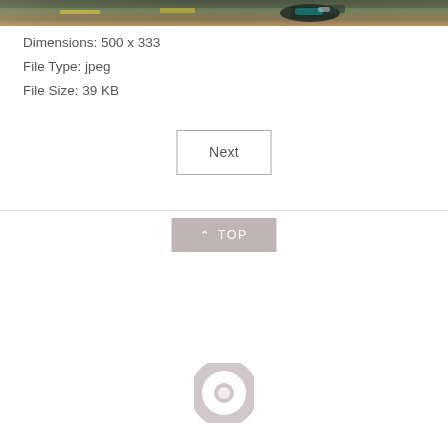[Figure (photo): Partial view of a motorcycle racing photo showing the top edge of the image. Colorful track with yellow markings visible.]
Dimensions: 500 x 333
File Type: jpeg
File Size: 39 KB
Next
^ TOP